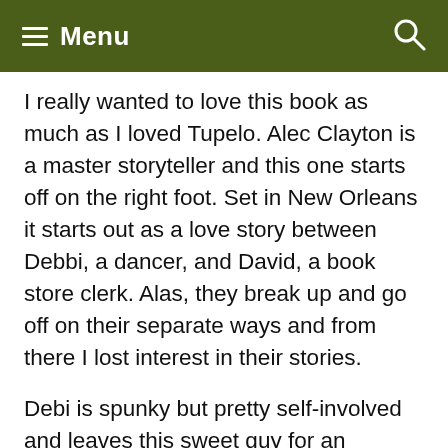Menu
I really wanted to love this book as much as I loved Tupelo. Alec Clayton is a master storyteller and this one starts off on the right foot. Set in New Orleans it starts out as a love story between Debbi, a dancer, and David, a book store clerk. Alas, they break up and go off on their separate ways and from there I lost interest in their stories.
Debi is spunky but pretty self-involved and leaves this sweet guy for an egotistical, abusive prick of a rich cowboy. All for wealth. David is then heartbroken and decides to go to New York and become an actor. He has some funny moments along the way and